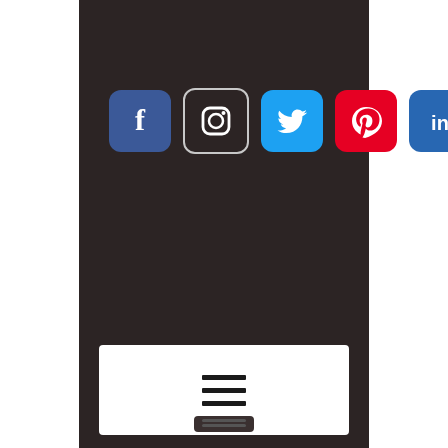[Figure (screenshot): A smartphone/tablet UI screenshot showing a dark background (#2c2424) with five social media icons (Facebook, Instagram, Twitter, Pinterest, LinkedIn) arranged horizontally near the top, and a white rectangular button with a hamburger menu icon (three horizontal lines) in the center area.]